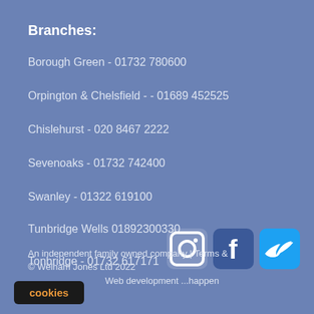Branches:
Borough Green - 01732 780600
Orpington & Chelsfield - - 01689 452525
Chislehurst - 020 8467 2222
Sevenoaks - 01732 742400
Swanley - 01322 619100
Tunbridge Wells 01892300330
Tonbridge - 01732 617171
[Figure (logo): Instagram, Facebook, and Twitter social media icons]
An independent family owned company | Terms & © Welham Jones Ltd 2022 Web development ...happen
cookies